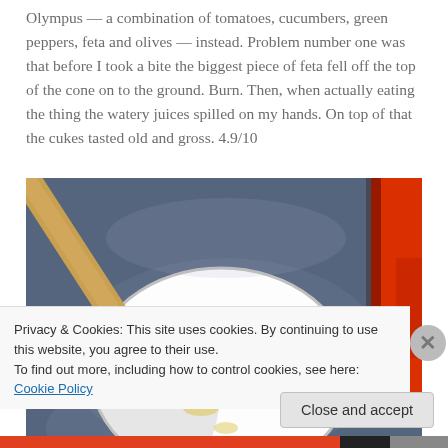Olympus — a combination of tomatoes, cucumbers, green peppers, feta and olives — instead. Problem number one was that before I took a bite the biggest piece of feta fell off the top of the cone on to the ground. Burn. Then, when actually eating the thing the watery juices spilled on my hands. On top of that the cukes tasted old and gross. 4.9/10
[Figure (photo): Close-up photo of a white bowl/cup with yellow residue, a wooden or tan stick/handle visible from upper left, and a red jacket visible at the right edge. Background is blueish-grey ground.]
Privacy & Cookies: This site uses cookies. By continuing to use this website, you agree to their use.
To find out more, including how to control cookies, see here: Cookie Policy
Close and accept